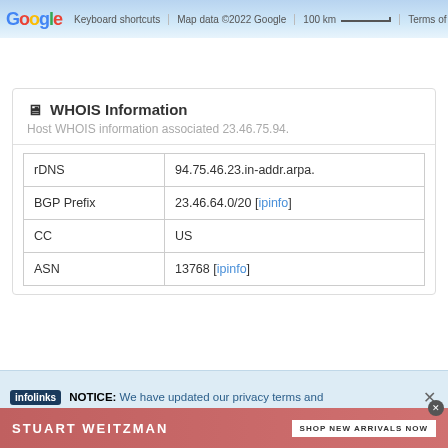[Figure (screenshot): Google Maps bar with keyboard shortcuts, map data copyright 2022 Google, 100 km scale, and Terms of Use]
WHOIS Information
Host WHOIS information associated 23.46.75.94.
| rDNS | 94.75.46.23.in-addr.arpa. |
| BGP Prefix | 23.46.64.0/20 [ipinfo] |
| CC | US |
| ASN | 13768 [ipinfo] |
NOTICE: We have updated our privacy terms and
[Figure (screenshot): Stuart Weitzman advertisement banner with SHOP NEW ARRIVALS NOW button on pink/coral background]